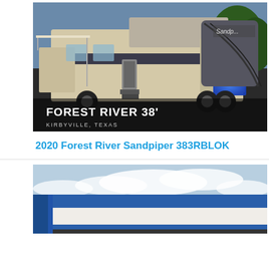[Figure (photo): Photo of a 2020 Forest River Sandpiper 383RBLOK fifth wheel RV parked in a driveway at dusk, with text overlay reading 'FOREST RIVER 38' KIRBYVILLE, TEXAS']
2020 Forest River Sandpiper 383RBLOK
[Figure (photo): Partial photo of an RV exterior showing blue and white striping against a cloudy sky]